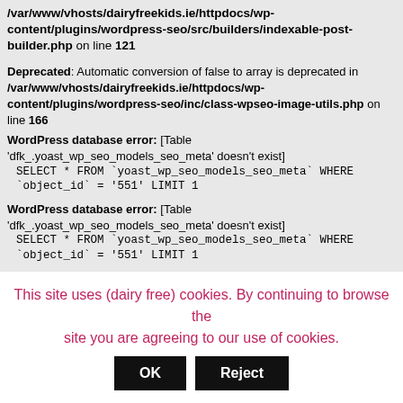/var/www/vhosts/dairyfreekids.ie/httpdocs/wp-content/plugins/wordpress-seo/src/builders/indexable-post-builder.php on line 121
Deprecated: Automatic conversion of false to array is deprecated in /var/www/vhosts/dairyfreekids.ie/httpdocs/wp-content/plugins/wordpress-seo/inc/class-wpseo-image-utils.php on line 166
WordPress database error: [Table 'dfk_.yoast_wp_seo_models_seo_meta' doesn't exist]
  SELECT * FROM `yoast_wp_seo_models_seo_meta` WHERE `object_id` = '551' LIMIT 1
WordPress database error: [Table 'dfk_.yoast_wp_seo_models_seo_meta' doesn't exist]
  SELECT * FROM `yoast_wp_seo_models_seo_meta` WHERE `object_id` = '551' LIMIT 1
This site uses (dairy free) cookies. By continuing to browse the site you are agreeing to our use of cookies.